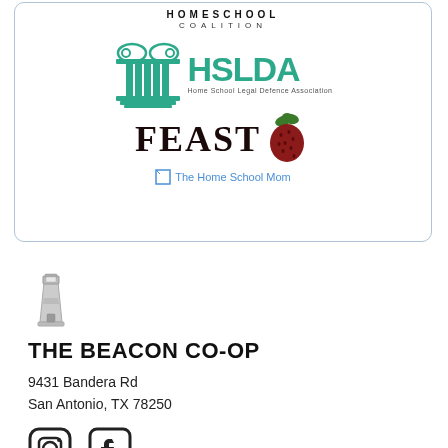[Figure (logo): Bordered box containing: HOMESCHOOL COALITION text, HSLDA (Home School Legal Defence Association) logo with Greek column icon, FEAST logo with strawberry, and The Home School Mom link]
[Figure (logo): Beacon lighthouse icon]
THE BEACON CO-OP
9431 Bandera Rd
San Antonio, TX 78250
[Figure (other): Instagram and Facebook social media icons]